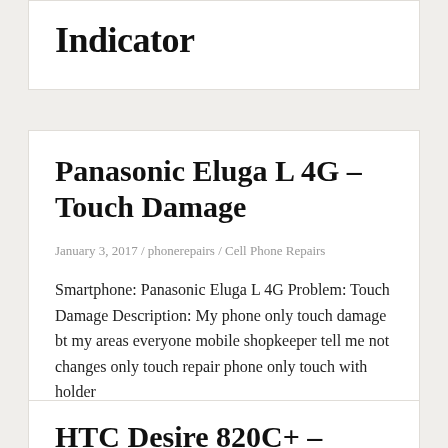Indicator
Panasonic Eluga L 4G – Touch Damage
January 3, 2017 / phonerepairs / Cell Phone Repairs
Smartphone: Panasonic Eluga L 4G Problem: Touch Damage Description: My phone only touch damage bt my areas everyone mobile shopkeeper tell me not changes only touch repair phone only touch with holder
HTC Desire 820C+ – Screen